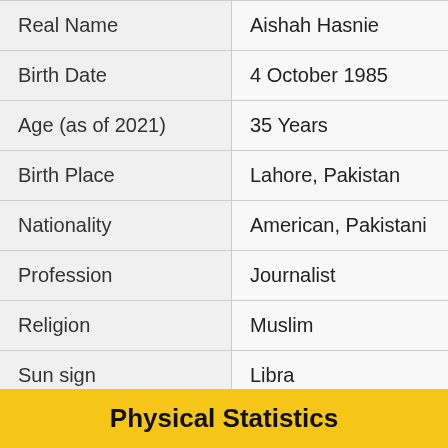| Field | Value |
| --- | --- |
| Real Name | Aishah Hasnie |
| Birth Date | 4 October 1985 |
| Age (as of 2021) | 35 Years |
| Birth Place | Lahore, Pakistan |
| Nationality | American, Pakistani |
| Profession | Journalist |
| Religion | Muslim |
| Sun sign | Libra |
Physical Statistics